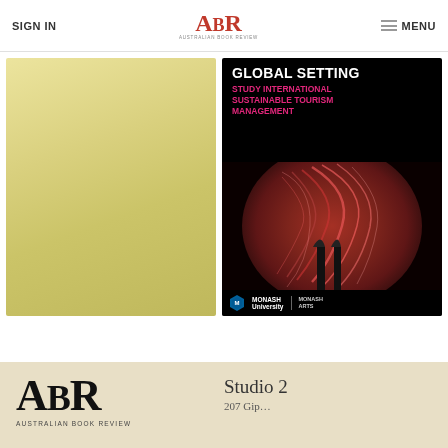SIGN IN | ABR AUSTRALIAN BOOK REVIEW | MENU
[Figure (illustration): Gold/yellow gradient plain book cover image on the left side]
[Figure (illustration): Black background advertisement for Monash University: GLOBAL SETTING - STUDY INTERNATIONAL SUSTAINABLE TOURISM MANAGEMENT, with red swirling abstract art and Monash University / Monash Arts logos at the bottom]
[Figure (logo): ABR Australian Book Review large logo in black serif font on beige/tan background]
Studio 2